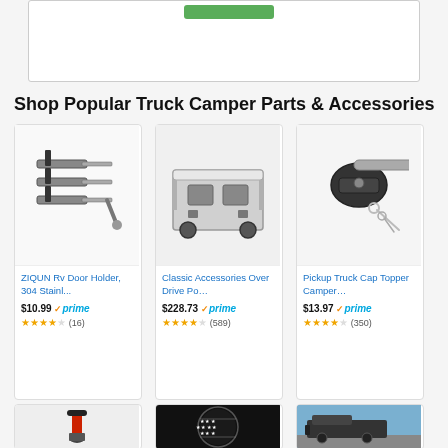[Figure (screenshot): Top portion of an Amazon product or ad card with a green button at the top, white background with border]
Shop Popular Truck Camper Parts & Accessories
[Figure (photo): ZIQUN Rv Door Holder, 304 Stainl... - stainless steel RV door holder hardware product image]
ZIQUN Rv Door Holder, 304 Stainl...
$10.99 prime (16) 3.5 stars
[Figure (photo): Classic Accessories Over Drive Po... - gray truck camper cover product image]
Classic Accessories Over Drive Po...
$228.73 prime (589) 4 stars
[Figure (photo): Pickup Truck Cap Topper Camper... - black lock/key hardware product image]
Pickup Truck Cap Topper Camper...
$13.97 prime (350) 4.5 stars
[Figure (photo): Bottom row product 1 - pump/jack tool product]
[Figure (photo): Bottom row product 2 - black circular American flag spare tire cover]
[Figure (photo): Bottom row product 3 - truck camper outdoor photo]